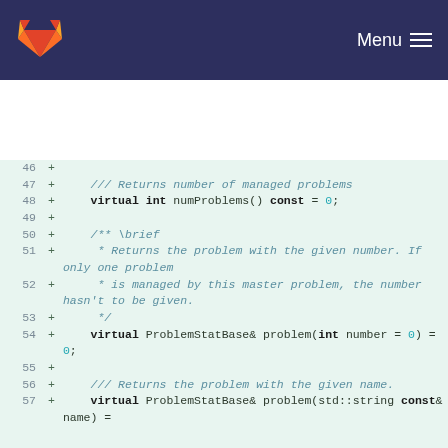GitLab logo | Menu
[Figure (screenshot): Code diff view showing C++ header file lines 46-57 with added lines (green background). Lines include virtual function declarations for numProblems() and problem() with Doxygen comments.]